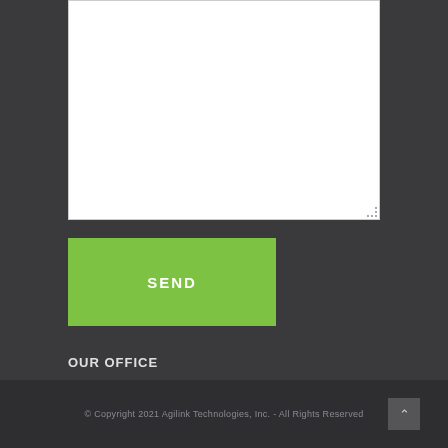[Figure (screenshot): White textarea input box with resize handle at bottom-right corner]
[Figure (screenshot): Green SEND button with white bold uppercase text]
OUR OFFICE
334 E. Farrel Rd. Suite B Lafayette, LA 70508
Phone: (888) 412-6963
Email: support@agilink.net
© Copyright 2021 Agilink Technologies, Inc. - All Rights Reserved